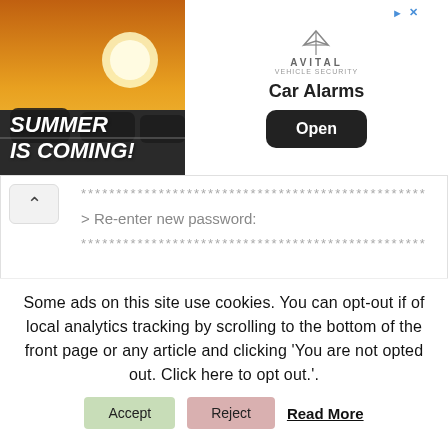[Figure (illustration): Advertisement banner showing a summer car scene with orange sunset light, Avital car alarm logo, 'Car Alarms' text, and an 'Open' button. Text 'SUMMER IS COMING!' overlaid on photo.]
***************************** > Re-enter new password: ***************************** > Remove anonymous users? (Press y|Y for Yes, any other key for No) : y > Disallow root login remotely? (Press y|Y for Yes, any other key for No) : y > Remove test database and
Some ads on this site use cookies. You can opt-out if of local analytics tracking by scrolling to the bottom of the front page or any article and clicking 'You are not opted out. Click here to opt out.'.